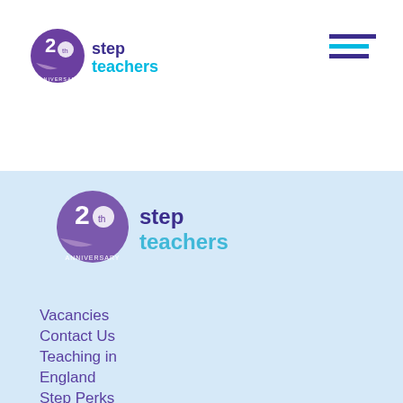[Figure (logo): Step Teachers 20th anniversary logo - top navigation bar]
[Figure (logo): Step Teachers 20th anniversary logo - blue menu section]
Vacancies
Contact Us
Teaching in England
Step Perks
Careers at Step Teachers
Modern Slavery Report
Terms & Conditions
Privacy Policy
Cookie Policy